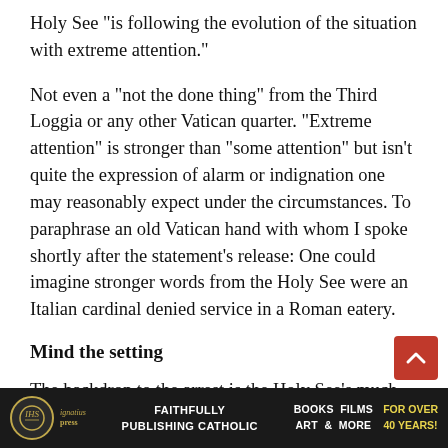Holy See “is following the evolution of the situation with extreme attention.”
Not even a “not the done thing” from the Third Loggia or any other Vatican quarter. “Extreme attention” is stronger than “some attention” but isn’t quite the expression of alarm or indignation one may reasonably expect under the circumstances. To paraphrase an old Vatican hand with whom I spoke shortly after the statement’s release: One could imagine stronger words from the Holy See were an Italian cardinal denied service in a Roman eatery.
Mind the setting
The backdrop to the arrest is the Holy See’s much-controverted, frequently maligned, and fairly doubtful (even within the walls of Vatican City, albeit quietly so) 2018 accord with the Chinese government, which had the twofold purpose of repairing a decades-long schism that split the govern…
Ignatius Press | FAITHFULLY PUBLISHING CATHOLIC | BOOKS FILMS ART & MORE | FOR OVER 40 YEARS!